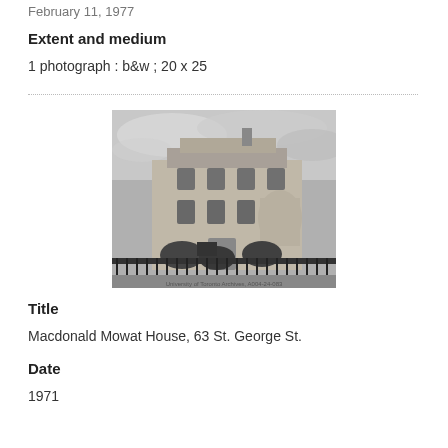February 11, 1977
Extent and medium
1 photograph : b&w ; 20 x 25
[Figure (photo): Black and white photograph of Macdonald Mowat House at 63 St. George St., a large historic building with ornate architecture, iron fence in foreground, cloudy sky. Caption reads: University of Toronto Archives, A004-24-083]
Title
Macdonald Mowat House, 63 St. George St.
Date
1971